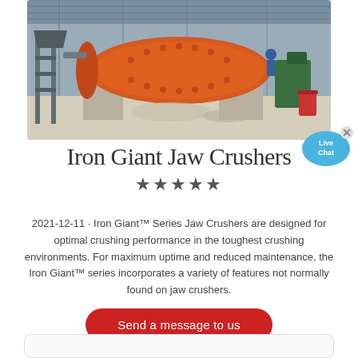[Figure (photo): Industrial facility interior showing a large orange cylindrical ball mill or crusher machine mounted on concrete pedestals inside a factory shed with metal roof structure and workers visible in background]
Iron Giant Jaw Crushers
★★★★★
2021-12-11 · Iron Giant™ Series Jaw Crushers are designed for optimal crushing performance in the toughest crushing environments. For maximum uptime and reduced maintenance, the Iron Giant™ series incorporates a variety of features not normally found on jaw crushers.
Send a message to us